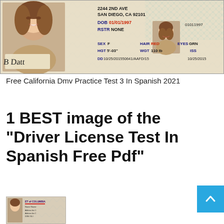[Figure (photo): California driver license showing a young woman's photo, address 2244 2ND AVE SAN DIEGO CA 92101, DOB 01/01/1997 in red, RSTR NONE, a smaller secondary photo, number 01011997, SEX F, HAIR RED, EYES GRN, HGT 5'-03", WGT 110 lb, DD 10/25/201550641/AAFD/15, ISS 10/25/2015, and a signature reading B Datt]
Free California Dmv Practice Test 3 In Spanish 2021
1 BEST image of the "Driver License Test In Spanish Free Pdf"
[Figure (photo): Partial view of a District of Columbia driver license at the bottom of the page]